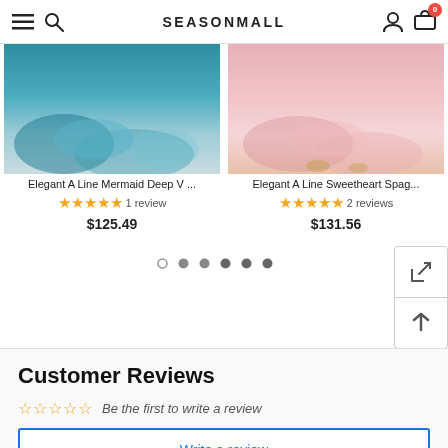SEASONMALL
[Figure (photo): Teal/blue flowing dress fabric at bottom, product image for Elegant A Line Mermaid Deep V dress]
Elegant A Line Mermaid Deep V ...
★★★★★ 1 review
$125.49
[Figure (photo): Pink flowing dress fabric at bottom, product image for Elegant A Line Sweetheart Spag... dress]
Elegant A Line Sweetheart Spag...
★★★★★ 2 reviews
$131.56
Customer Reviews
☆☆☆☆☆ Be the first to write a review
Write a review